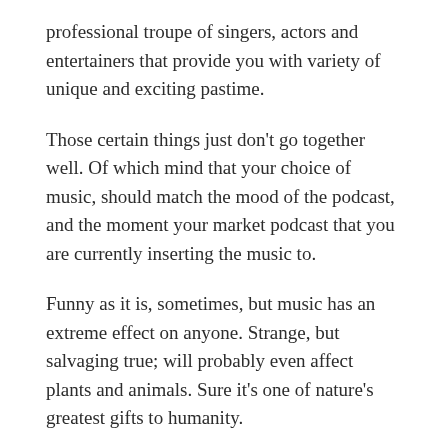professional troupe of singers, actors and entertainers that provide you with variety of unique and exciting pastime.
Those certain things just don't go together well. Of which mind that your choice of music, should match the mood of the podcast, and the moment your market podcast that you are currently inserting the music to.
Funny as it is, sometimes, but music has an extreme effect on anyone. Strange, but salvaging true; will probably even affect plants and animals. Sure it's one of nature's greatest gifts to humanity.
Websites offering music for web page are numerous and will proshape rx safe the variety of music